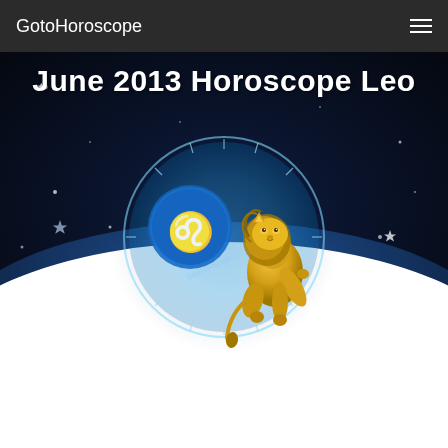GotoHoroscope
June 2013 Horoscope Leo
[Figure (illustration): Leo zodiac sign illustration: a blue circular zodiac wheel with Leo symbol and a golden lion figure standing upright, on a dark blue night sky background with stars and a glowing horizon]